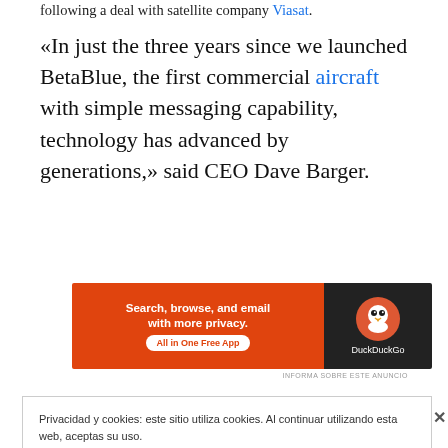following a deal with satellite company Viasat.
«In just the three years since we launched BetaBlue, the first commercial aircraft with simple messaging capability, technology has advanced by generations,» said CEO Dave Barger.
[Figure (screenshot): DuckDuckGo advertisement banner: orange left panel with text 'Search, browse, and email with more privacy. All in One Free App', dark right panel with DuckDuckGo logo and name.]
INFORMA SOBRE ESTE ANUNCIO
Privacidad y cookies: este sitio utiliza cookies. Al continuar utilizando esta web, aceptas su uso.
Para obtener más información, incluido cómo controlar las cookies, consulta aquí: Política de cookies
Cerrar y aceptar